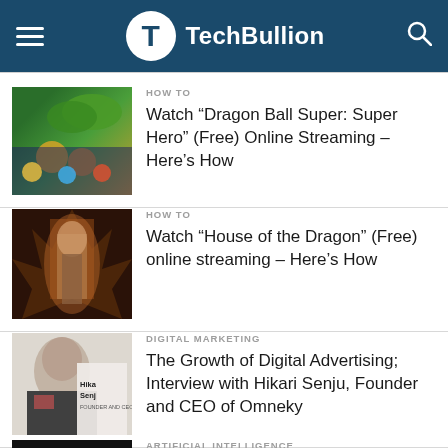TechBullion
HOW TO
Watch “Dragon Ball Super: Super Hero” (Free) Online Streaming – Here’s How
HOW TO
Watch “House of the Dragon” (Free) online streaming – Here’s How
DIGITAL MARKETING
The Growth of Digital Advertising; Interview with Hikari Senju, Founder and CEO of Omneky
ARTIFICIAL INTELLIGENCE
The Rise of Voice AI; Interview with